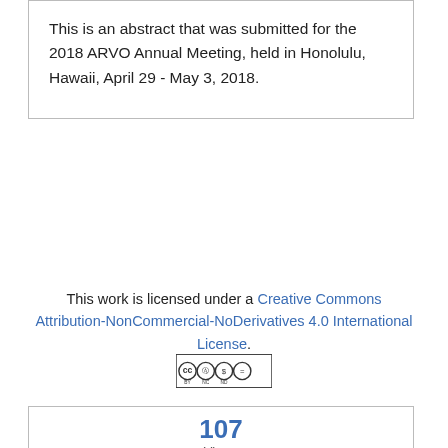This is an abstract that was submitted for the 2018 ARVO Annual Meeting, held in Honolulu, Hawaii, April 29 - May 3, 2018.
This work is licensed under a Creative Commons Attribution-NonCommercial-NoDerivatives 4.0 International License.
[Figure (logo): Creative Commons BY NC ND license badge]
107 Views
0 Citations
This site uses cookies. By continuing to use our website, you are agreeing to our privacy policy. Accept